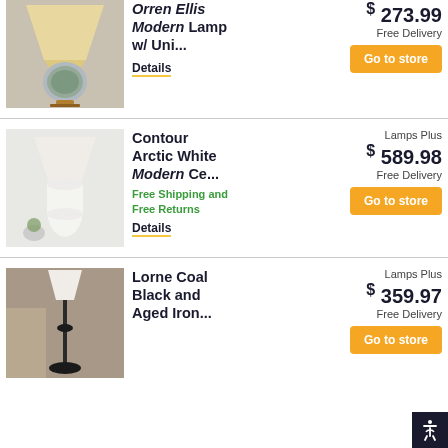[Figure (photo): Globe-style decorative lamp with beige shade and floral/plant terrarium base]
Orren Ellis Modern Lamp w/ Uni...
$273.99
Free Delivery
Details
Go to store
[Figure (photo): White ceramic modern table lamp with conical shade in a living space]
Contour Arctic White Modern Ce...
Free Shipping and Free Returns
Details
Lamps Plus
$589.98
Free Delivery
Go to store
[Figure (photo): Black floor lamp with white conical shade in an interior setting]
Lorne Coal Black and Aged Iron...
Lamps Plus
$359.97
Free Delivery
Go to store